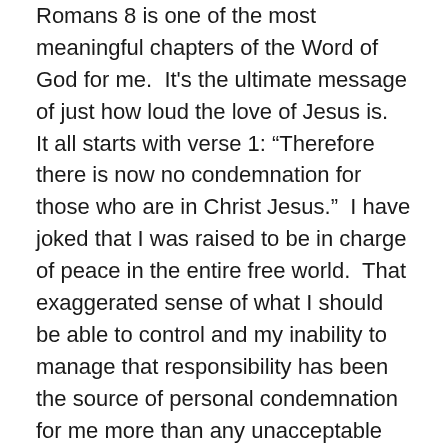Romans 8 is one of the most meaningful chapters of the Word of God for me.  It's the ultimate message of just how loud the love of Jesus is.  It all starts with verse 1: “Therefore there is now no condemnation for those who are in Christ Jesus.”  I have joked that I was raised to be in charge of peace in the entire free world.  That exaggerated sense of what I should be able to control and my inability to manage that responsibility has been the source of personal condemnation for me more than any unacceptable personal behavior.  Maybe you’re there too.  Let me comfort you with this truth.
Jesus would never, NEVER use condemnation to correct you.  Period!  The one who has placed his own Spirit inside you has invested himself completely in changing your mind about the real purpose of his life in you.  “By entering into the intimacy of our innermost self he [Jesus]